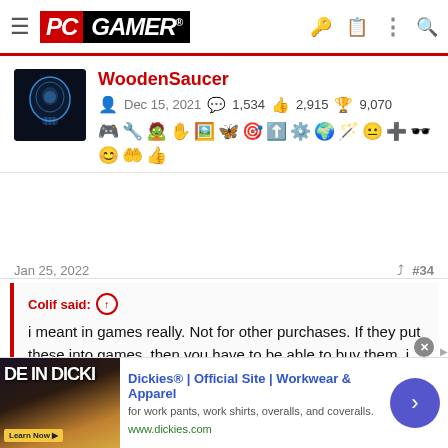PC GAMER
WoodenSaucer
Dec 15, 2021  1,534  2,915  9,070
[Figure (illustration): User avatar showing a glowing blue brain/skull X-ray illustration on black background]
Jan 25, 2022  #34
Colif said: ↑

i meant in games really. Not for other purchases. If they put these into games, then you have to be able to buy them. i can just see a EA and Ubisoft wanting to start a coin to get as much of the profit as possible. These things aren't put into games for the players really.
[Figure (photo): Advertisement for Dickies workwear showing a dark image with text 'DE IN DICKI' and a yellow Learn Now button]
Dickies® | Official Site | Workwear & Apparel
for work pants, work shirts, overalls, and coveralls.
www.dickies.com